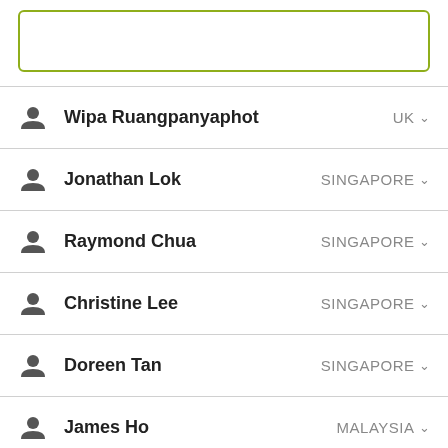[Figure (other): Empty input box with olive/yellow-green border at top of screen]
Wipa Ruangpanyaphot — UK
Jonathan Lok — SINGAPORE
Raymond Chua — SINGAPORE
Christine Lee — SINGAPORE
Doreen Tan — SINGAPORE
James Ho — MALAYSIA